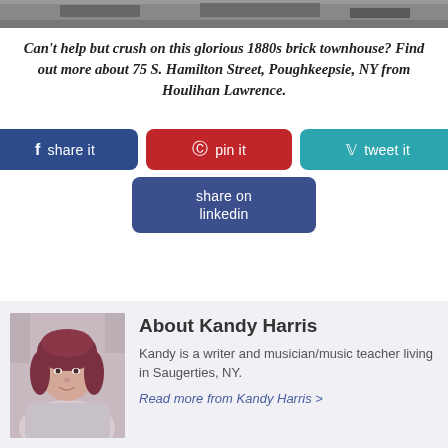[Figure (photo): Top portion of a brick building or street scene, partially cropped]
Can't help but crush on this glorious 1880s brick townhouse? Find out more about 75 S. Hamilton Street, Poughkeepsie, NY from Houlihan Lawrence.
[Figure (infographic): Social sharing buttons: share it (Facebook), pin it (Pinterest), tweet it (Twitter), share on linkedin]
[Figure (photo): Headshot photo of Kandy Harris, a woman with curly dark red hair smiling]
About Kandy Harris
Kandy is a writer and musician/music teacher living in Saugerties, NY.
Read more from Kandy Harris >